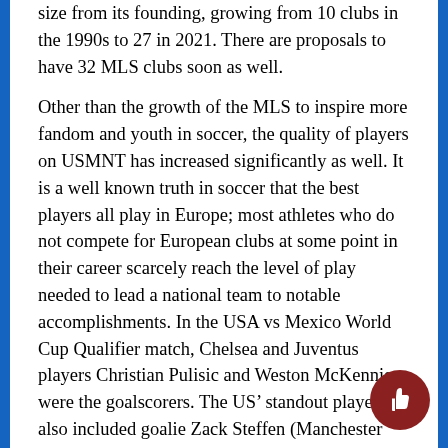size from its founding, growing from 10 clubs in the 1990s to 27 in 2021. There are proposals to have 32 MLS clubs soon as well.

Other than the growth of the MLS to inspire more fandom and youth in soccer, the quality of players on USMNT has increased significantly as well. It is a well known truth in soccer that the best players all play in Europe; most athletes who do not compete for European clubs at some point in their career scarcely reach the level of play needed to lead a national team to notable accomplishments. In the USA vs Mexico World Cup Qualifier match, Chelsea and Juventus players Christian Pulisic and Weston McKennie were the goalscorers. The US' standout players also included goalie Zack Steffen (Manchester City), Yunus Musa (Valencia), Timothy Weah (Lille) and Brenden Aaronson (RB Salzburg). The appearance of those players in Europe and very intense, competitive leagues has increased the quality of the USA's soccer team. These players are also very